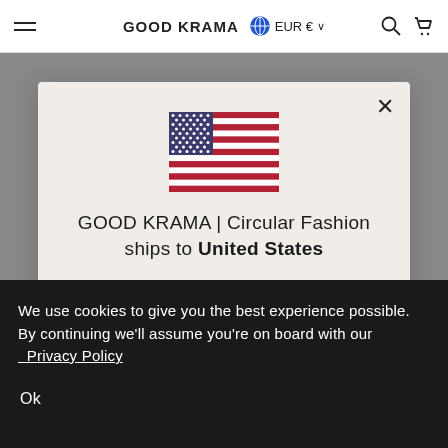[Figure (screenshot): Website navigation bar showing hamburger menu, GOOD KRAMA logo, EUR€ currency selector, and search/cart icons]
[Figure (illustration): US flag emoji/icon centered in modal dialog]
GOOD KRAMA | Circular Fashion ships to United States
Shop in USD $
Get shipping options for United States
We use cookies to give you the best experience possible. By continuing we'll assume you're on board with our Privacy Policy
Ok